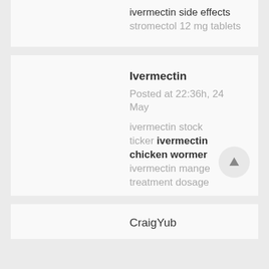ivermectin side effects stromectol 12 mg tablets
Ivermectin
Posted at 22:36h, 24 May
ivermectin stock ticker ivermectin chicken wormer ivermectin mange treatment dosage
CraigYub